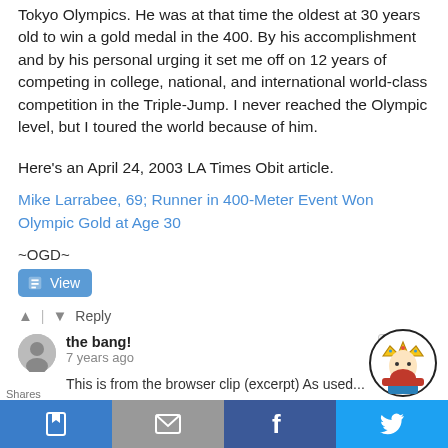Tokyo Olympics. He was at that time the oldest at 30 years old to win a gold medal in the 400. By his accomplishment and by his personal urging it set me off on 12 years of competing in college, national, and international world-class competition in the Triple-Jump. I never reached the Olympic level, but I toured the world because of him.
Here's an April 24, 2003 LA Times Obit article.
Mike Larrabee, 69; Runner in 400-Meter Event Won Olympic Gold at Age 30
~OGD~
View
Reply
the bang!
7 years ago
This is from the browser clip (excerpt) As used...